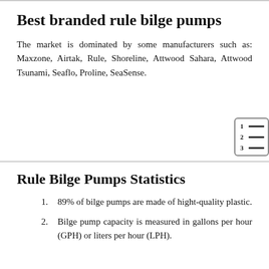Best branded rule bilge pumps
The market is dominated by some manufacturers such as: Maxzone, Airtak, Rule, Shoreline, Attwood Sahara, Attwood Tsunami, Seaflo, Proline, SeaSense.
[Figure (other): Table of contents icon with numbered lines (1, 2, 3 with horizontal lines)]
Rule Bilge Pumps Statistics
89% of bilge pumps are made of hight-quality plastic.
Bilge pump capacity is measured in gallons per hour (GPH) or liters per hour (LPH).